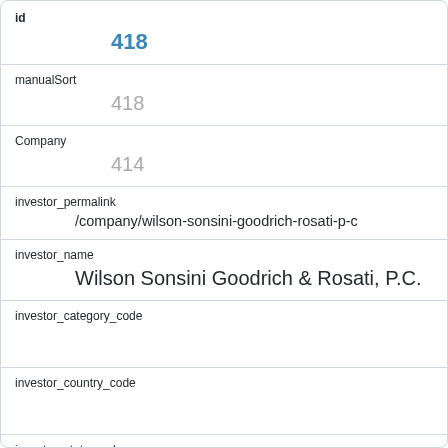id
418
manualSort
418
Company
414
investor_permalink
/company/wilson-sonsini-goodrich-rosati-p-c
investor_name
Wilson Sonsini Goodrich & Rosati, P.C.
investor_category_code
investor_country_code
investor_state_code
investor_region
unknown
investor_city